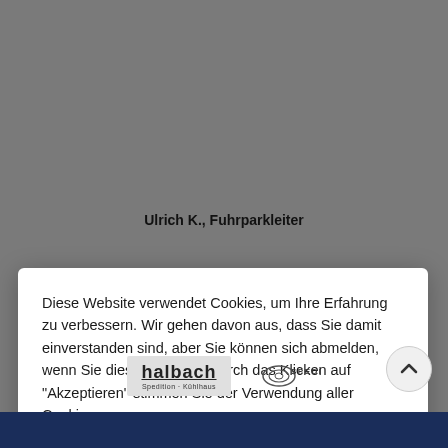Ulrich K., Fuhrparkleiter
Diese Website verwendet Cookies, um Ihre Erfahrung zu verbessern. Wir gehen davon aus, dass Sie damit einverstanden sind, aber Sie können sich abmelden, wenn Sie dies wünschen. Durch das Klicken auf "Akzeptieren" stimmen Sie der Verwendung aller Cookies zu.
Cookie-Einstellungen
Akzeptieren
[Figure (logo): Two company logos visible in the background: a logistics company with bold text and 'Spedition · Kühlhaus' subtitle, and a Spedition logo with swoosh lines.]
[Figure (other): Circular scroll-to-top button with upward arrow icon.]